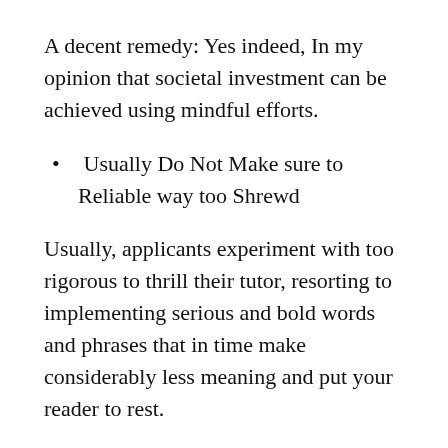A decent remedy: Yes indeed, In my opinion that societal investment can be achieved using mindful efforts.
Usually Do Not Make sure to Reliable way too Shrewd
Usually, applicants experiment with too rigorous to thrill their tutor, resorting to implementing serious and bold words and phrases that in time make considerably less meaning and put your reader to rest.
Some sample essay problem: Does social cash alter in several cultural instructional classes?